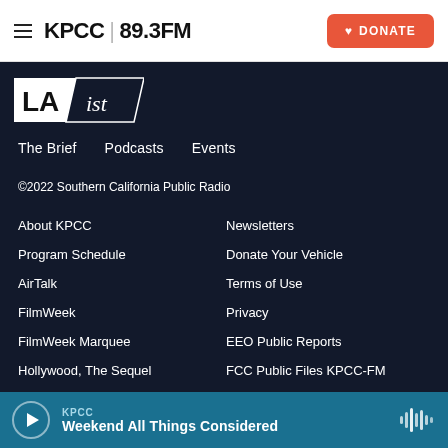KPCC 89.3FM — DONATE
[Figure (logo): LAist logo — white and dark stylized text on dark background]
The Brief
Podcasts
Events
©2022 Southern California Public Radio
About KPCC
Newsletters
Program Schedule
Donate Your Vehicle
AirTalk
Terms of Use
FilmWeek
Privacy
FilmWeek Marquee
EEO Public Reports
Hollywood, The Sequel
FCC Public Files KPCC-FM
KPCC — Weekend All Things Considered